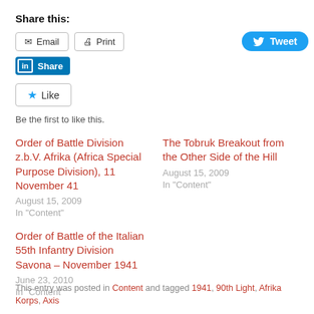Share this:
[Figure (screenshot): Social sharing buttons row: Email, Print, Tweet, LinkedIn Share]
[Figure (screenshot): Like button with star icon and 'Be the first to like this.' text]
Be the first to like this.
Order of Battle Division z.b.V. Afrika (Africa Special Purpose Division), 11 November 41
August 15, 2009
In “Content”
The Tobruk Breakout from the Other Side of the Hill
August 15, 2009
In “Content”
Order of Battle of the Italian 55th Infantry Division Savona – November 1941
June 23, 2010
In “Content”
This entry was posted in Content and tagged 1941, 90th Light, Afrika Korps, Axis